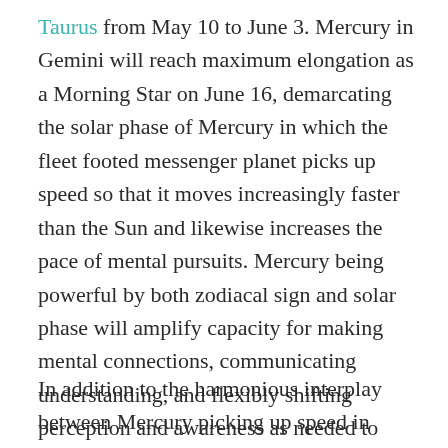Taurus from May 10 to June 3. Mercury in Gemini will reach maximum elongation as a Morning Star on June 16, demarcating the solar phase of Mercury in which the fleet footed messenger planet picks up speed so that it moves increasingly faster than the Sun and likewise increases the pace of mental pursuits. Mercury being powerful by both zodiacal sign and solar phase will amplify capacity for making mental connections, communicating understanding, and flexibly shifting perception and awareness as needed to discover deeper meaning and bring into form the imaginal visions of Jupiter.
In addition to the harmonious interplay between Mercury picking up speed in Gemini